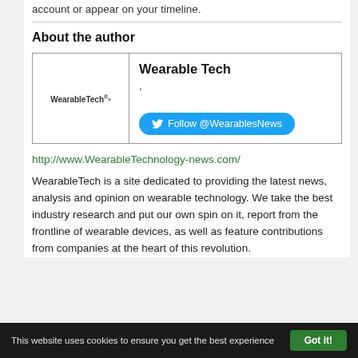account or appear on your timeline.
About the author
[Figure (logo): WearableTech logo with trademark/registered symbol]
Wearable Tech
Follow @WearablesNews
http://www.WearableTechnology-news.com/
WearableTech is a site dedicated to providing the latest news, analysis and opinion on wearable technology. We take the best industry research and put our own spin on it, report from the frontline of wearable devices, as well as feature contributions from companies at the heart of this revolution.
This website uses cookies to ensure you get the best experience
Got it!